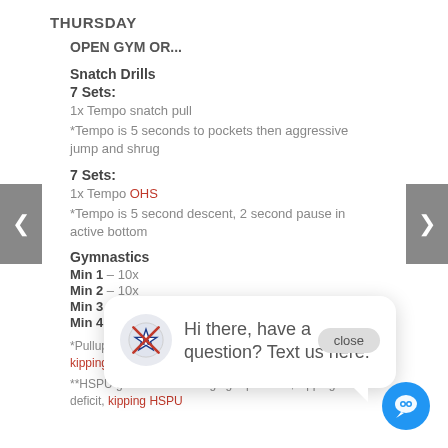THURSDAY
OPEN GYM OR...
Snatch Drills
7 Sets:
1x Tempo snatch pull
*Tempo is 5 seconds to pockets then aggressive jump and shrug
7 Sets:
1x Tempo OHS
*Tempo is 5 second descent, 2 second pause in active bottom
Gymnastics
Min 1 – 10x
Min 2 – 10x
Min 3 – 15x
Min 4 – 10x **HSPU
*Pullup goal- 10x Challenging reps: butterfly C2B, kipping C2B, butterfly pull ups or kipping pull ups
**HSPU goal- 10x Challenging reps: strict, kipping deficit, kipping HSPU
[Figure (other): Chat popup overlay with robot/star logo and text: Hi there, have a question? Text us here.]
[Figure (other): Close button overlay]
[Figure (other): Blue chat FAB button]